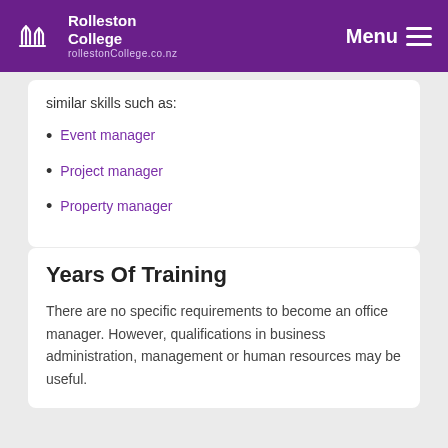Rolleston College | Menu
similar skills such as:
Event manager
Project manager
Property manager
Years Of Training
There are no specific requirements to become an office manager. However, qualifications in business administration, management or human resources may be useful.